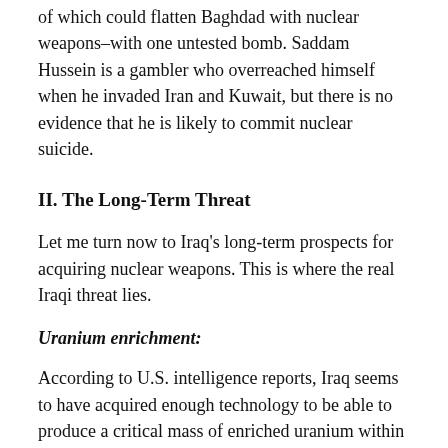of which could flatten Baghdad with nuclear weapons–with one untested bomb. Saddam Hussein is a gambler who overreached himself when he invaded Iran and Kuwait, but there is no evidence that he is likely to commit nuclear suicide.
II. The Long-Term Threat
Let me turn now to Iraq's long-term prospects for acquiring nuclear weapons. This is where the real Iraqi threat lies.
Uranium enrichment:
According to U.S. intelligence reports, Iraq seems to have acquired enough technology to be able to produce a critical mass of enriched uranium within five to ten years, even if the current trade embargo is maintained indefinitely. To do so, Iraq will have to make about a thousand machines called centrifuges, which spin uranium gas at high speed and